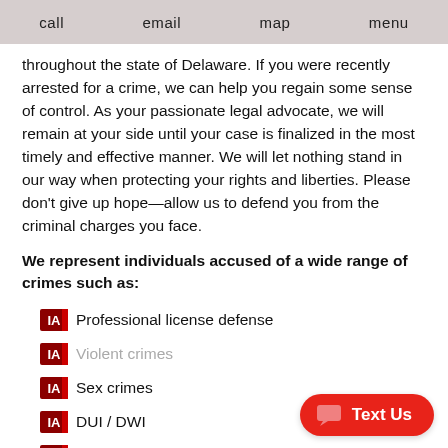call   email   map   menu
throughout the state of Delaware. If you were recently arrested for a crime, we can help you regain some sense of control. As your passionate legal advocate, we will remain at your side until your case is finalized in the most timely and effective manner. We will let nothing stand in our way when protecting your rights and liberties. Please don't give up hope—allow us to defend you from the criminal charges you face.
We represent individuals accused of a wide range of crimes such as:
Professional license defense
Violent crimes
Sex crimes
DUI / DWI
Drug crimes